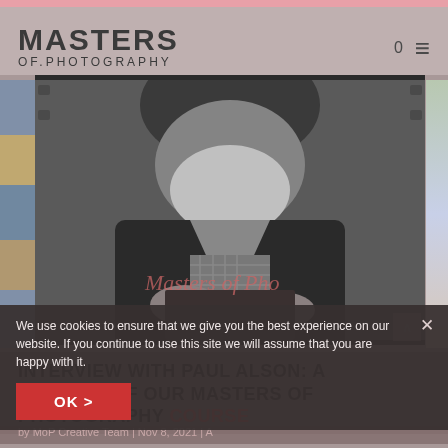MASTERS OF.PHOTOGRAPHY
[Figure (photo): Black and white photograph of an elderly bearded man looking down, holding what appears to be a photography book or album. Watermark text 'Masters of Pho' visible across the image.]
INTERVIEW WITH PAUL ALSON: A STUDENT OF OUR MASTERS OF PHOTOGRAPHY COURSE
by MoP Creative Team | Nov 8, 2021 | A
We use cookies to ensure that we give you the best experience on our website. If you continue to use this site we will assume that you are happy with it.